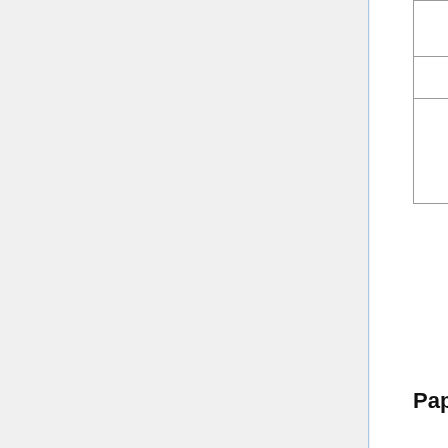| Date | Type | Reading/Topic | Presenter |
| --- | --- | --- | --- |
| 11/26 |  | Thanksgiving "Break" |  |
| 12/03 | D | Berdan, E.L., and R.C. Fuller. 2012 Interspecific divergence of ionoregulatory physiology in killifish: insight into adaptation and speciation. J. Zool. | Jon |
Papers and Notes to